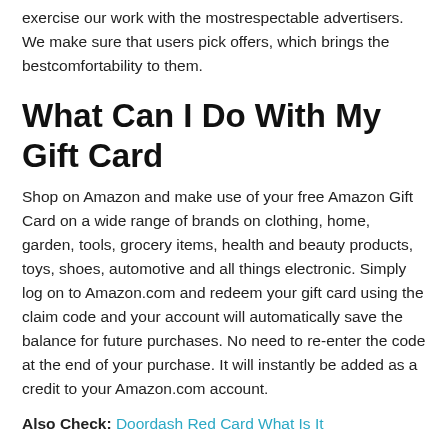exercise our work with the mostrespectable advertisers. We make sure that users pick offers, which brings the bestcomfortability to them.
What Can I Do With My Gift Card
Shop on Amazon and make use of your free Amazon Gift Card on a wide range of brands on clothing, home, garden, tools, grocery items, health and beauty products, toys, shoes, automotive and all things electronic. Simply log on to Amazon.com and redeem your gift card using the claim code and your account will automatically save the balance for future purchases. No need to re-enter the code at the end of your purchase. It will instantly be added as a credit to your Amazon.com account.
Also Check: Doordash Red Card What Is It